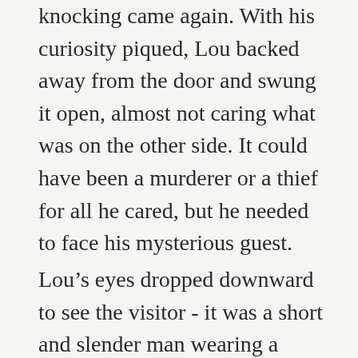knocking came again. With his curiosity piqued, Lou backed away from the door and swung it open, almost not caring what was on the other side. It could have been a murderer or a thief for all he cared, but he needed to face his mysterious guest.
Lou's eyes dropped downward to see the visitor - it was a short and slender man wearing a pinstriped